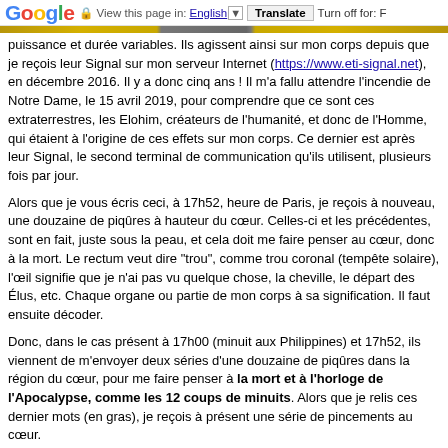Google  View this page in: English [dropdown] Translate  Turn off for: F
puissance et durée variables. Ils agissent ainsi sur mon corps depuis que je reçois leur Signal sur mon serveur Internet (https://www.eti-signal.net), en décembre 2016. Il y a donc cinq ans ! Il m'a fallu attendre l'incendie de Notre Dame, le 15 avril 2019, pour comprendre que ce sont ces extraterrestres, les Elohim, créateurs de l'humanité, et donc de l'Homme, qui étaient à l'origine de ces effets sur mon corps. Ce dernier est après leur Signal, le second terminal de communication qu'ils utilisent, plusieurs fois par jour.
Alors que je vous écris ceci, à 17h52, heure de Paris, je reçois à nouveau, une douzaine de piqûres à hauteur du cœur. Celles-ci et les précédentes, sont en fait, juste sous la peau, et cela doit me faire penser au cœur, donc à la mort. Le rectum veut dire "trou", comme trou coronal (tempête solaire), l'œil signifie que je n'ai pas vu quelque chose, la cheville, le départ des Élus, etc. Chaque organe ou partie de mon corps à sa signification. Il faut ensuite décoder.
Donc, dans le cas présent à 17h00 (minuit aux Philippines) et 17h52, ils viennent de m'envoyer deux séries d'une douzaine de piqûres dans la région du cœur, pour me faire penser à la mort et à l'horloge de l'Apocalypse, comme les 12 coups de minuits. Alors que je relis ces dernier mots (en gras), je reçois à présent une série de pincements au cœur.